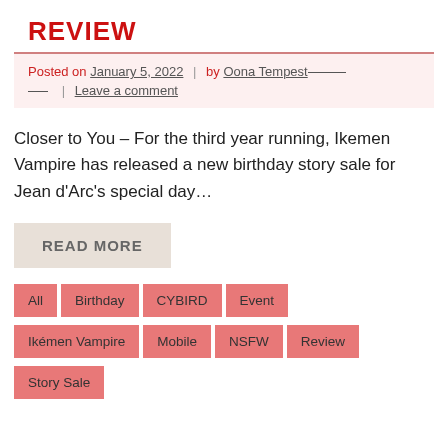REVIEW
Posted on January 5, 2022 | by Oona Tempest ___ | Leave a comment
Closer to You – For the third year running, Ikemen Vampire has released a new birthday story sale for Jean d'Arc's special day…
READ MORE
All
Birthday
CYBIRD
Event
Ikémen Vampire
Mobile
NSFW
Review
Story Sale